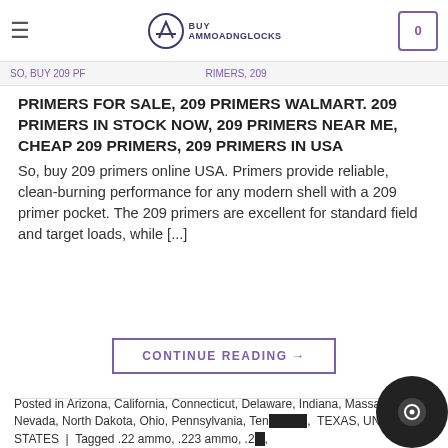BUY AMMOADNGLOCKS
SO, BUY 209 PF... RIMERS, 209
PRIMERS FOR SALE, 209 PRIMERS WALMART. 209 PRIMERS IN STOCK NOW, 209 PRIMERS NEAR ME, CHEAP 209 PRIMERS, 209 PRIMERS IN USA  So, buy 209 primers online USA. Primers provide reliable, clean-burning performance for any modern shell with a 209 primer pocket. The 209 primers are excellent for standard field and target loads, while [...]
CONTINUE READING →
Posted in Arizona, California, Connecticut, Delaware, Indiana, Massachusetts, Nevada, North Dakota, Ohio, Pennsylvania, Tennessee, TEXAS, UNITED STATES | Tagged .22 ammo, .223 ammo, .2... .308 ammo, .38 special ammo, .40 ammo, .45 app ammo, 10... 12 gauge ammo, 22 lr ammo, 22 mag ammo, 22 wmr ammo vs 5.7x28, 22-250...  .300 bull...  .30l...  .30l... form... .348...